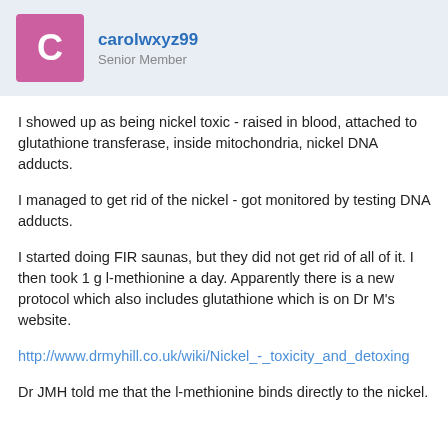[Figure (other): User avatar: pink/magenta square with white letter C]
carolwxyz99
Senior Member
I showed up as being nickel toxic - raised in blood, attached to glutathione transferase, inside mitochondria, nickel DNA adducts.
I managed to get rid of the nickel - got monitored by testing DNA adducts.
I started doing FIR saunas, but they did not get rid of all of it. I then took 1 g l-methionine a day. Apparently there is a new protocol which also includes glutathione which is on Dr M's website.
http://www.drmyhill.co.uk/wiki/Nickel_-_toxicity_and_detoxing
Dr JMH told me that the l-methionine binds directly to the nickel.